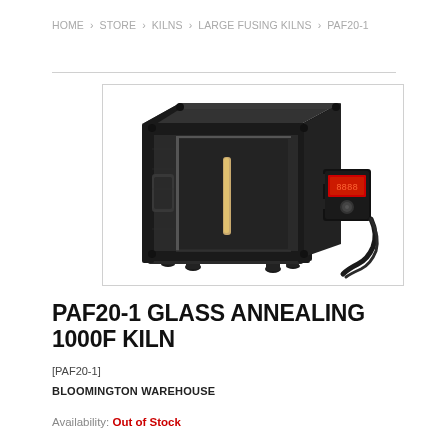HOME > STORE > KILNS > LARGE FUSING KILNS > PAF20-1
[Figure (photo): Black industrial glass annealing kiln (PAF20-1) with front-opening door, side handles, metal frame, and attached digital controller unit with power cord, shown at an angle against a white background.]
PAF20-1 GLASS ANNEALING 1000F KILN
[PAF20-1]
BLOOMINGTON WAREHOUSE
Availability: Out of Stock